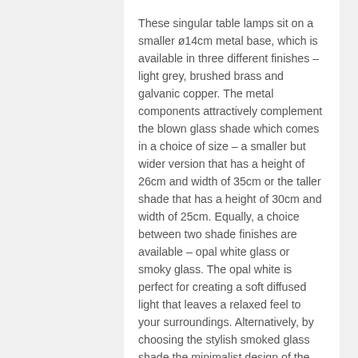These singular table lamps sit on a smaller ø14cm metal base, which is available in three different finishes – light grey, brushed brass and galvanic copper. The metal components attractively complement the blown glass shade which comes in a choice of size – a smaller but wider version that has a height of 26cm and width of 35cm or the taller shade that has a height of 30cm and width of 25cm. Equally, a choice between two shade finishes are available – opal white glass or smoky glass. The opal white is perfect for creating a soft diffused light that leaves a relaxed feel to your surroundings. Alternatively, by choosing the stylish smoked glass shade the minimalist design of the